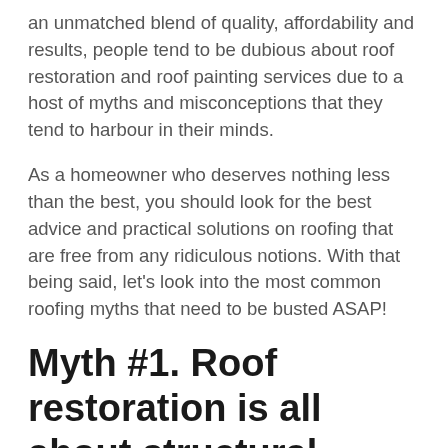an unmatched blend of quality, affordability and results, people tend to be dubious about roof restoration and roof painting services due to a host of myths and misconceptions that they tend to harbour in their minds.
As a homeowner who deserves nothing less than the best, you should look for the best advice and practical solutions on roofing that are free from any ridiculous notions. With that being said, let's look into the most common roofing myths that need to be busted ASAP!
Myth #1. Roof restoration is all about structural integrity, making it a complex and tedious